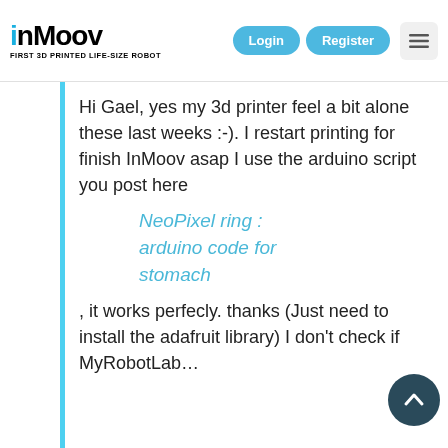InMoov - First 3D Printed Life-Size Robot | Login | Register
Hi Gael, yes my 3d printer feel a bit alone these last weeks :-). I restart printing for finish InMoov asap I use the arduino script you post here
NeoPixel ring : arduino code for stomach
, it works perfecly. thanks (Just need to install the adafruit library) I don't check if MyRobotLab…